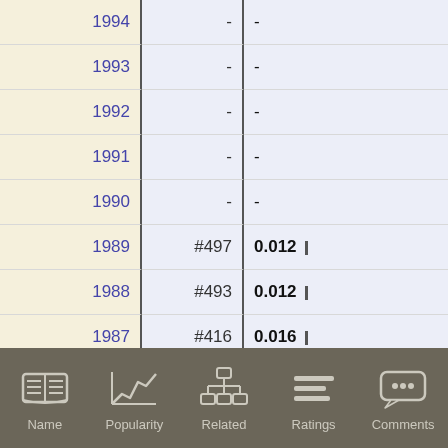| Year | Rank | Value |
| --- | --- | --- |
| 1994 | - | - |
| 1993 | - | - |
| 1992 | - | - |
| 1991 | - | - |
| 1990 | - | - |
| 1989 | #497 | 0.012 |
| 1988 | #493 | 0.012 |
| 1987 | #416 | 0.016 |
| 1986 | #446 | 0.013 |
| 1985 | #393 | 0.017 |
| 1984 | #378 | 0.018 |
| 1983 | #347 | 0.021 |
Name | Popularity | Related | Ratings | Comments